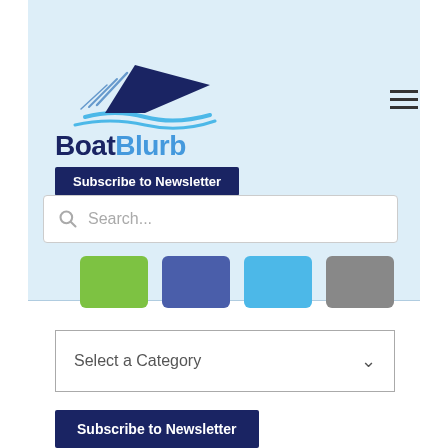[Figure (logo): BoatBlurb logo with boat graphic above text. Bold dark navy 'Boat' and blue 'Blurb' wordmark.]
Subscribe to Newsletter
[Figure (other): Search bar with magnifying glass icon and placeholder text 'Search...']
[Figure (other): Four color swatches: green, dark blue, light blue, gray]
[Figure (other): Dropdown selector labeled 'Select a Category' with chevron]
Subscribe to Newsletter